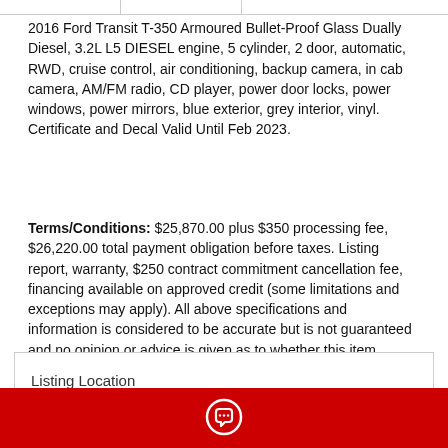2016 Ford Transit T-350 Armoured Bullet-Proof Glass Dually Diesel, 3.2L L5 DIESEL engine, 5 cylinder, 2 door, automatic, RWD, cruise control, air conditioning, backup camera, in cab camera, AM/FM radio, CD player, power door locks, power windows, power mirrors, blue exterior, grey interior, vinyl. Certificate and Decal Valid Until Feb 2023.
Terms/Conditions: $25,870.00 plus $350 processing fee, $26,220.00 total payment obligation before taxes. Listing report, warranty, $250 contract commitment cancellation fee, financing available on approved credit (some limitations and exceptions may apply). All above specifications and information is considered to be accurate but is not guaranteed and no opinion or advice is given as to whether this item should be purchased. Call 604-522-REPO(7376) to confirm listing availability.
Listing Location